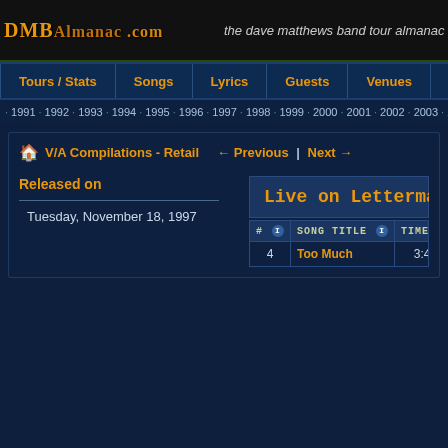DMBAlmanac.com - the dave matthews band tour almanac
Tours / Stats | Songs | Lyrics | Guests | Venues
1991 · 1992 · 1993 · 1994 · 1995 · 1996 · 1997 · 1998 · 1999 · 2000 · 2001 · 2002 · 2003 · 2004 · 2005
V/A Compilations - Retail  ← Previous | Next →
Released on
Tuesday, November 18, 1997
Live on Letterman: M
| # | Song Title | Time | Personnel |
| --- | --- | --- | --- |
| 4 | Too Much | 3:44 | Carter, Dave, Stefan, |